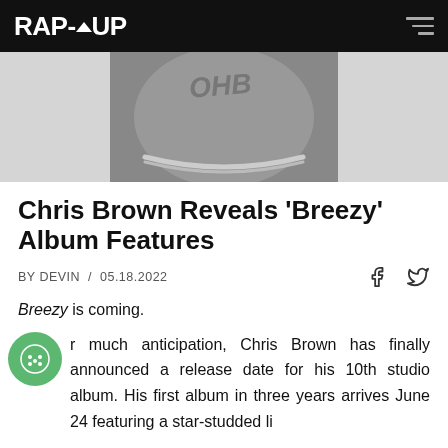RAP-UP
[Figure (photo): Black and white photo showing the back of a person's neck with 'OHB' tattoo and a chain necklace]
Chris Brown Reveals 'Breezy' Album Features
BY DEVIN / 05.18.2022
Breezy is coming.
After much anticipation, Chris Brown has finally announced a release date for his 10th studio album. His first album in three years arrives June 24 featuring a star-studded li...